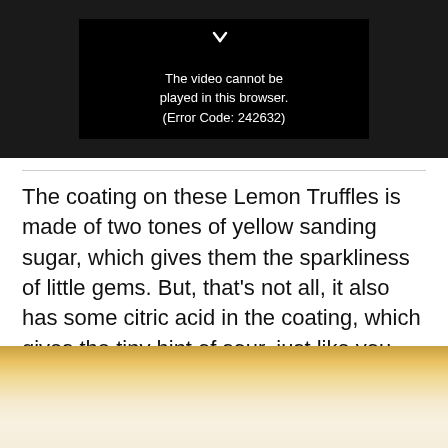[Figure (screenshot): Video player showing error message: 'The video cannot be played in this browser. (Error Code: 242632)' on black background]
The coating on these Lemon Truffles is made of two tones of yellow sanding sugar, which gives them the sparkliness of little gems. But, that's not all, it also has some citric acid in the coating, which gives the tiny hint of sour, just like you would have in a lemon.
[Figure (photo): Close-up photo of lemon truffles coated in yellow sanding sugar against a light background with warm golden tones]